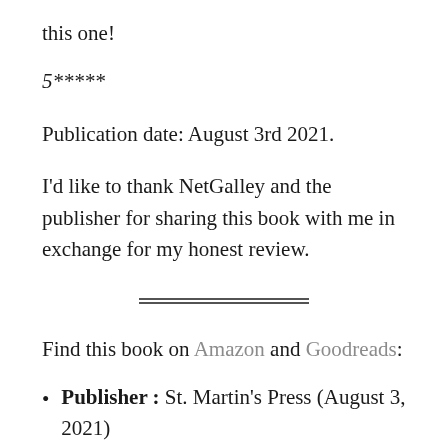this one!
5*****
Publication date: August 3rd 2021.
I’d like to thank NetGalley and the publisher for sharing this book with me in exchange for my honest review.
Find this book on Amazon and Goodreads:
Publisher : St. Martin’s Press (August 3, 2021)